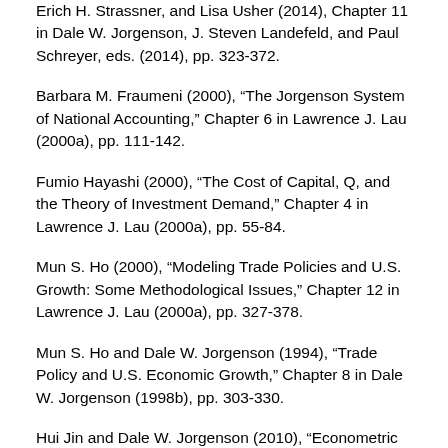Erich H. Strassner, and Lisa Usher (2014), Chapter 11 in Dale W. Jorgenson, J. Steven Landefeld, and Paul Schreyer, eds. (2014), pp. 323-372.
Barbara M. Fraumeni (2000), “The Jorgenson System of National Accounting,” Chapter 6 in Lawrence J. Lau (2000a), pp. 111-142.
Fumio Hayashi (2000), “The Cost of Capital, Q, and the Theory of Investment Demand,” Chapter 4 in Lawrence J. Lau (2000a), pp. 55-84.
Mun S. Ho (2000), “Modeling Trade Policies and U.S. Growth: Some Methodological Issues,” Chapter 12 in Lawrence J. Lau (2000a), pp. 327-378.
Mun S. Ho and Dale W. Jorgenson (1994), “Trade Policy and U.S. Economic Growth,” Chapter 8 in Dale W. Jorgenson (1998b), pp. 303-330.
Hui Jin and Dale W. Jorgenson (2010), “Econometric Modeling of